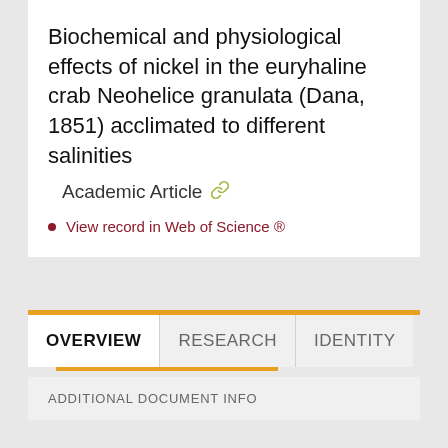Biochemical and physiological effects of nickel in the euryhaline crab Neohelice granulata (Dana, 1851) acclimated to different salinities
Academic Article
View record in Web of Science ®
OVERVIEW | RESEARCH | IDENTITY
ADDITIONAL DOCUMENT INFO